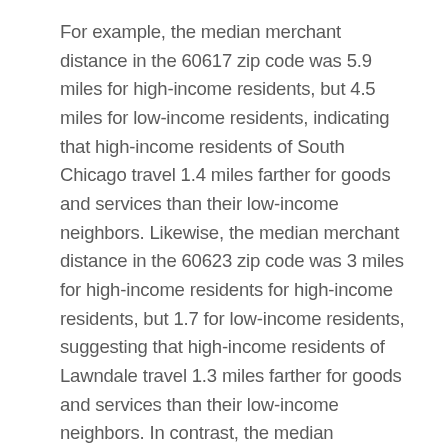For example, the median merchant distance in the 60617 zip code was 5.9 miles for high-income residents, but 4.5 miles for low-income residents, indicating that high-income residents of South Chicago travel 1.4 miles farther for goods and services than their low-income neighbors. Likewise, the median merchant distance in the 60623 zip code was 3 miles for high-income residents for high-income residents, but 1.7 for low-income residents, suggesting that high-income residents of Lawndale travel 1.3 miles farther for goods and services than their low-income neighbors. In contrast, the median merchant distances in the 60645, 60626, and 60614 zip codes on the North Side were exactly the same for high-income residents and low-income residents at 1.6 miles, 2.1 miles, and 0.9 miles, respectively.